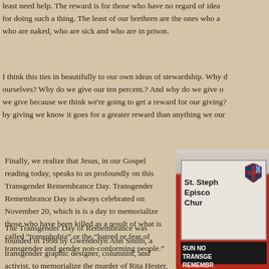least need help. The reward is for those who have no regard of idea for doing such a thing. The least of our brethren are the ones who are who are naked, who are sick and who are in prison.
I think this ties in beautifully to our own ideas of stewardship. Why do ourselves? Why do we give our ten percent.? And why do we give of we give because we think we're going to get a reward for our giving? by giving we know it goes for a greater reward than anything we ours
Finally, we realize that Jesus, in our Gospel reading today, speaks to us profoundly on this Transgender Remembrance Day. Transgender Remembrance Day is always celebrated on November 20, which is is a day to memorialize those who have been killed as a result of what is called “transphobia” or the “hatred or fear of transgender and gender non-conforming people.”
[Figure (photo): Church sign for St. Stephen's Episcopal Church with a shield/cross logo, showing text about Transgender Remembrance Day on a black marquee board]
The Transgender Day of Remembrance was founded in 1998 by Gwendolyn Ann Smith, a transgender graphic designer, columnist, and activist, to memorialize the murder of Rita Hester, a transgender African American woman who was